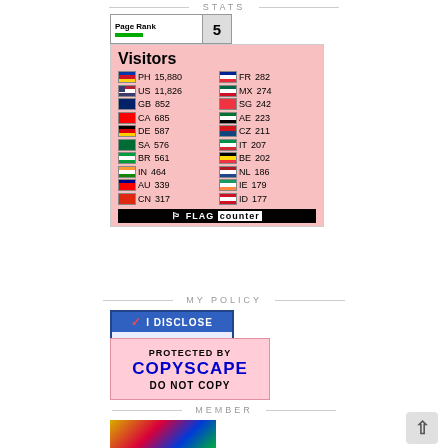STATS
[Figure (other): Page Rank widget showing rank 5 with green bar]
[Figure (table-as-image): Flag Counter widget showing visitor counts by country: PH 15,880 | FR 282 | US 11,826 | MX 274 | GB 852 | SG 242 | CA 685 | AE 223 | DE 587 | CZ 211 | SA 576 | IT 207 | BR 561 | BE 202 | IN 464 | NL 186 | AU 339 | IE 179 | CN 317 | ID 177]
MY POLICY
[Figure (other): I Disclose badge from disclosurepolicy.org]
[Figure (other): Protected by Copyscape - Do Not Copy badge]
MEMBER
[Figure (other): Member badge with colorful logo on black background]